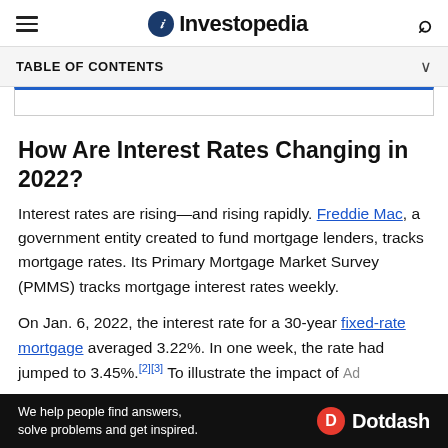Investopedia
TABLE OF CONTENTS
How Are Interest Rates Changing in 2022?
Interest rates are rising—and rising rapidly. Freddie Mac, a government entity created to fund mortgage lenders, tracks mortgage rates. Its Primary Mortgage Market Survey (PMMS) tracks mortgage interest rates weekly.
On Jan. 6, 2022, the interest rate for a 30-year fixed-rate mortgage averaged 3.22%. In one week, the rate had jumped to 3.45%.[2][3] To illustrate the impact of
[Figure (other): Dotdash advertisement banner at the bottom of the page]